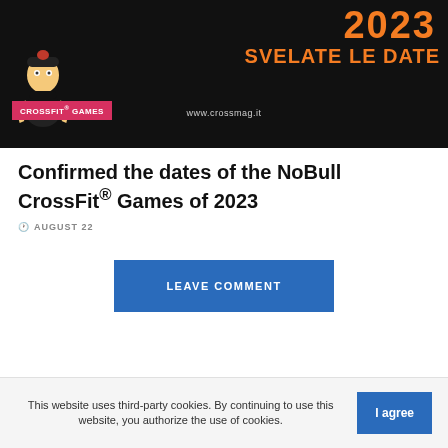[Figure (illustration): Hero image with dark background showing a cartoon ninja character and orange text '2023 SVELATE LE DATE', CrossFit Games badge, and www.crossmag.it watermark]
Confirmed the dates of the NoBull CrossFit® Games of 2023
AUGUST 22
LEAVE COMMENT
This website uses third-party cookies. By continuing to use this website, you authorize the use of cookies.
I agree